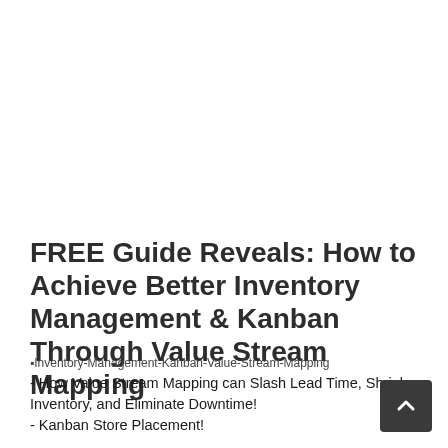FREE Guide Reveals: How to Achieve Better Inventory Management & Kanban Through Value Stream Mapping
Inventory-Management-Kanban-Value-Stream-Mapping - How Value Stream Mapping can Slash Lead Time, Shrink Inventory, and Eliminate Downtime!
- Kanban Store Placement!